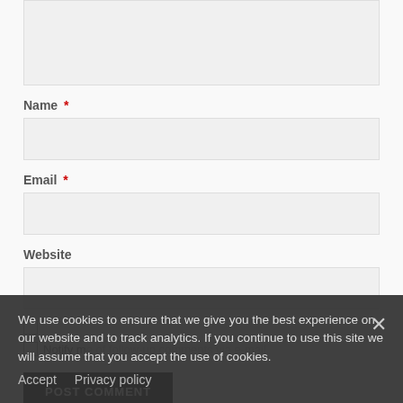[Figure (screenshot): Cropped top portion of a comment/text input textarea with light gray background]
Name *
[Figure (screenshot): Name input field - light gray rectangular input box]
Email *
[Figure (screenshot): Email input field - light gray rectangular input box]
Website
[Figure (screenshot): Website input field - light gray rectangular input box (partially visible)]
We use cookies to ensure that we give you the best experience on our website and to track analytics. If you continue to use this site we will assume that you accept the use of cookies.
Accept   Privacy policy